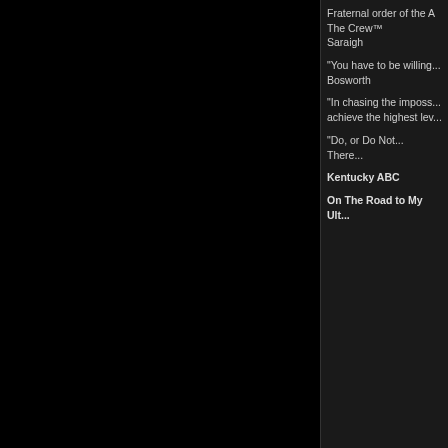Fraternal order of the A
The Crew™
Saraigh
"You have to be willing...
Bosworth
"In chasing the imposs... achieve the highest lev...
"Do, or Do Not... There...
Kentucky ABC
On The Road to My Ult...
09-14-10, 4:20 pm
100jan •
| Member Since: | 10.08 |
| Location: | Macedonia |
| Age: | 34 |
| Posts: | 265 |
Originally
Hey fellas, du... prototype, it k... to the US. We... registering ne... issue.
:( I wish I had the ch...